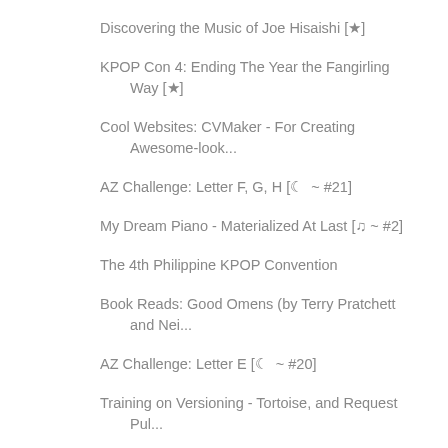Discovering the Music of Joe Hisaishi [★]
KPOP Con 4: Ending The Year the Fangirling Way [★]
Cool Websites: CVMaker - For Creating Awesome-look...
AZ Challenge: Letter F, G, H [☽ ~ #21]
My Dream Piano - Materialized At Last [♪ ~ #2]
The 4th Philippine KPOP Convention
Book Reads: Good Omens (by Terry Pratchett and Nei...
AZ Challenge: Letter E [☽ ~ #20]
Training on Versioning - Tortoise, and Request Pul...